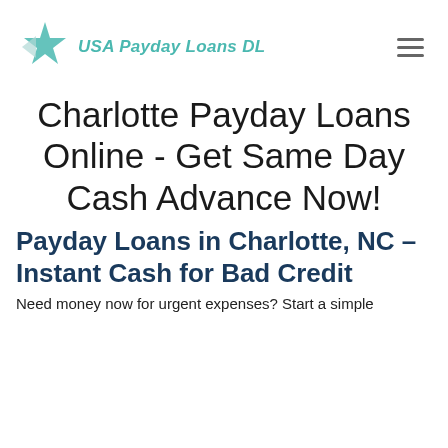USA Payday Loans DL
Charlotte Payday Loans Online - Get Same Day Cash Advance Now!
Payday Loans in Charlotte, NC – Instant Cash for Bad Credit
Need money now for urgent expenses? Start a simple